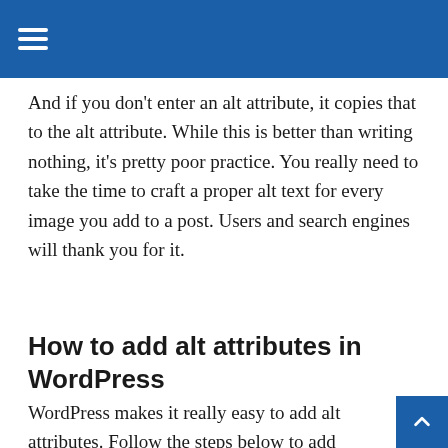≡
And if you don't enter an alt attribute, it copies that to the alt attribute. While this is better than writing nothing, it's pretty poor practice. You really need to take the time to craft a proper alt text for every image you add to a post. Users and search engines will thank you for it.
How to add alt attributes in WordPress
WordPress makes it really easy to add alt attributes. Follow the steps below to add them to your images. Your (image) SEO will truly benefit you get these details right. Users with a visual